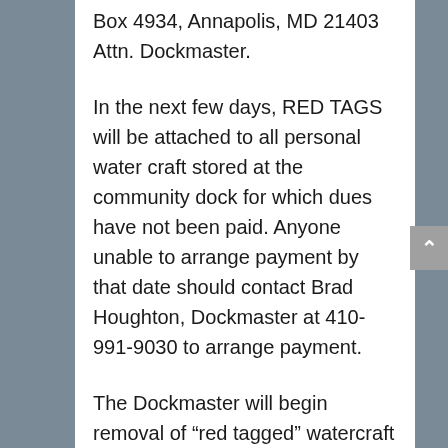Box 4934, Annapolis, MD 21403 Attn. Dockmaster.
In the next few days, RED TAGS will be attached to all personal water craft stored at the community dock for which dues have not been paid. Anyone unable to arrange payment by that date should contact Brad Houghton, Dockmaster at 410-991-9030 to arrange payment.
The Dockmaster will begin removal of “red tagged” watercraft on July 9th for which dues have not been paid or arrangements